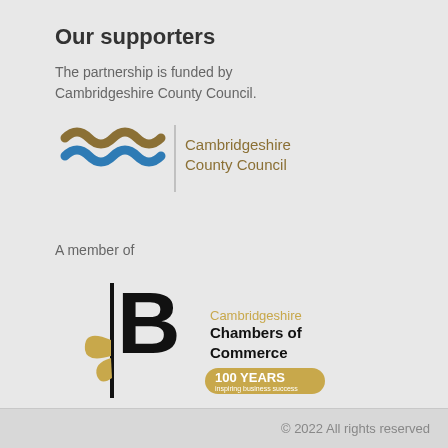Our supporters
The partnership is funded by Cambridgeshire County Council.
[Figure (logo): Cambridgeshire County Council logo with brown and blue wave patterns and text 'Cambridgeshire County Council']
A member of
[Figure (logo): Cambridgeshire Chambers of Commerce logo with black stylized B letter, leaf, and '100 YEARS inspiring business success' badge]
© 2022 All rights reserved